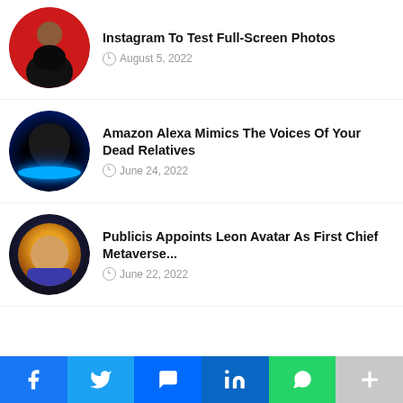[Figure (photo): Circular thumbnail of a man in a dark jacket speaking at an event with red background]
Instagram To Test Full-Screen Photos
August 5, 2022
[Figure (photo): Circular thumbnail of an Amazon Echo device with blue ring light on dark blue background]
Amazon Alexa Mimics The Voices Of Your Dead Relatives
June 24, 2022
[Figure (photo): Circular thumbnail of a lion avatar wearing a blue jacket, NFT/metaverse style]
Publicis Appoints Leon Avatar As First Chief Metaverse...
June 22, 2022
f  Twitter  Messenger  in  WhatsApp  +